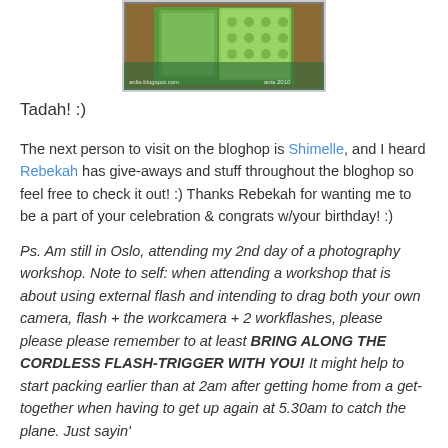[Figure (photo): A crafting/scrapbooking photo showing green patterned boxes and craft supplies on a cutting mat, with blog watermarks 'anlia.blogspot.com' and 'ania 2010']
Tadah! :)
The next person to visit on the bloghop is Shimelle, and I heard Rebekah has give-aways and stuff throughout the bloghop so feel free to check it out! :) Thanks Rebekah for wanting me to be a part of your celebration & congrats w/your birthday! :)
Ps. Am still in Oslo, attending my 2nd day of a photography workshop. Note to self: when attending a workshop that is about using external flash and intending to drag both your own camera, flash + the workcamera + 2 workflashes, please please please remember to at least BRING ALONG THE CORDLESS FLASH-TRIGGER WITH YOU! It might help to start packing earlier than at 2am after getting home from a get-together when having to get up again at 5.30am to catch the plane. Just sayin'